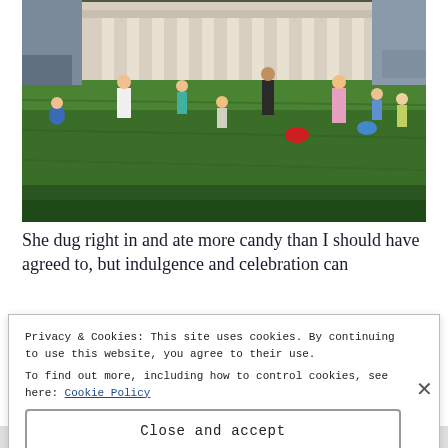[Figure (photo): Children and adults on a green lawn in front of a white columned building, engaged in what appears to be an Easter egg hunt. Children are running, bending down, and carrying baskets. Trees are visible in the background.]
She dug right in and ate more candy than I should have agreed to, but indulgence and celebration can
Privacy & Cookies: This site uses cookies. By continuing to use this website, you agree to their use.
To find out more, including how to control cookies, see here: Cookie Policy
Close and accept